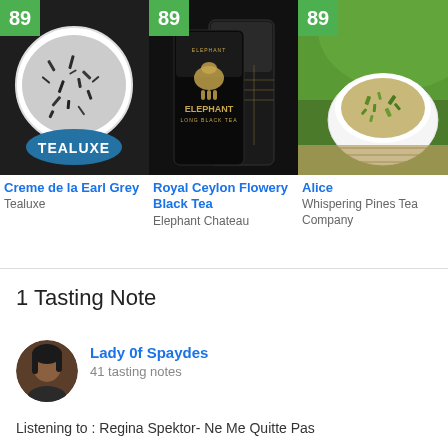[Figure (photo): Product photo of Creme de la Earl Grey tea from Tealuxe, score badge 89, showing loose leaf tea in a white bowl with Tealuxe logo]
Creme de la Earl Grey
Tealuxe
[Figure (photo): Product photo of Royal Ceylon Flowery Black Tea from Elephant Chateau, score badge 89, showing black packaging bags with gold design]
Royal Ceylon Flowery Black Tea
Elephant Chateau
[Figure (photo): Product photo of Alice tea from Whispering Pines Tea Company, score badge 89, showing loose leaf tea in a white bowl on bamboo mat]
Alice
Whispering Pines Tea Company
1 Tasting Note
[Figure (photo): Avatar photo of user Lady 0f Spaydes, a woman with dark hair]
Lady 0f Spaydes
41 tasting notes
Listening to : Regina Spektor- Ne Me Quitte Pas